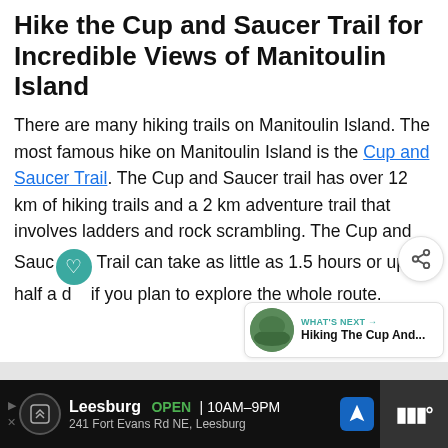Hike the Cup and Saucer Trail for Incredible Views of Manitoulin Island
There are many hiking trails on Manitoulin Island. The most famous hike on Manitoulin Island is the Cup and Saucer Trail. The Cup and Saucer trail has over 12 km of hiking trails and a 2 km adventure trail that involves ladders and rock scrambling. The Cup and Saucer Trail can take as little as 1.5 hours or up to half a day if you plan to explore the whole route.
[Figure (other): What's Next card showing Hiking The Cup And... with circular landscape thumbnail]
[Figure (other): Advertisement bar: Leesburg OPEN 10AM-9PM, 241 Fort Evans Rd NE, Leesburg]